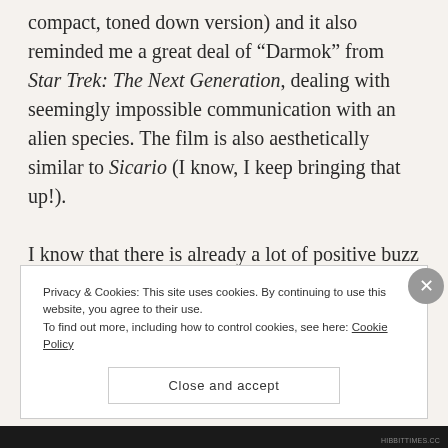compact, toned down version) and it also reminded me a great deal of "Darmok" from Star Trek: The Next Generation, dealing with seemingly impossible communication with an alien species. The film is also aesthetically similar to Sicario (I know, I keep bringing that up!).
I know that there is already a lot of positive buzz surrounding Arrival and that after the screening I went to, the Twitterverse was lit
Privacy & Cookies: This site uses cookies. By continuing to use this website, you agree to their use.
To find out more, including how to control cookies, see here: Cookie Policy
Close and accept